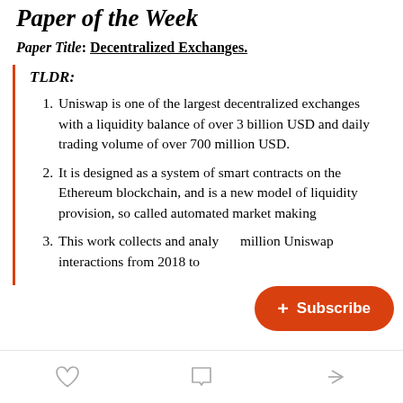Paper of the Week
Paper Title: Decentralized Exchanges.
TLDR:
Uniswap is one of the largest decentralized exchanges with a liquidity balance of over 3 billion USD and daily trading volume of over 700 million USD.
It is designed as a system of smart contracts on the Ethereum blockchain, and is a new model of liquidity provision, so called automated market making
This work collects and analyzes 9 million Uniswap interactions from 2018 to